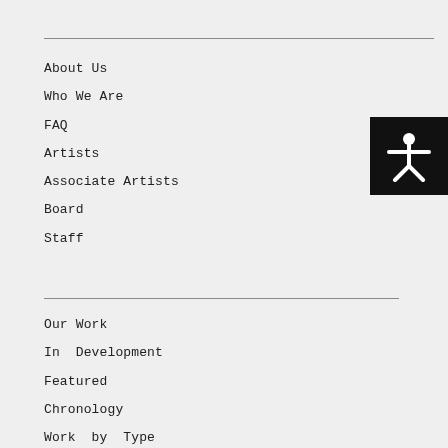About Us
Who We Are
FAQ
Artists
Associate Artists
Board
Staff
[Figure (illustration): Accessibility icon: white human figure with arms outstretched on black background]
Our Work
In  Development
Featured
Chronology
Work  by  Type
Our  Research